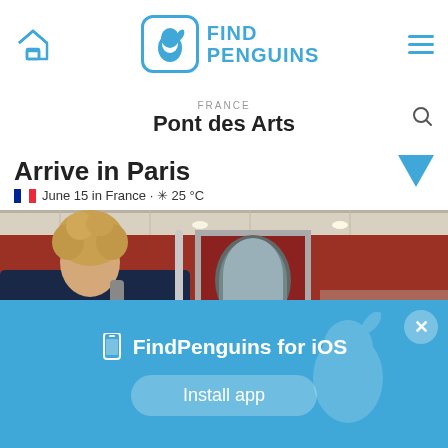FindPenguins - navigation bar with home icon, logo, and menu
FRANCE
Pont des Arts
Arrive in Paris
June 15 in France · ✳ 25 °C
[Figure (photo): Photo of a young man with curly blond hair wearing a dark navy t-shirt and backpack, standing in a Paris metro/train car next to red train doors. A person with an orange cap is visible in the background right.]
📱 FindPenguins for iOS
Install app